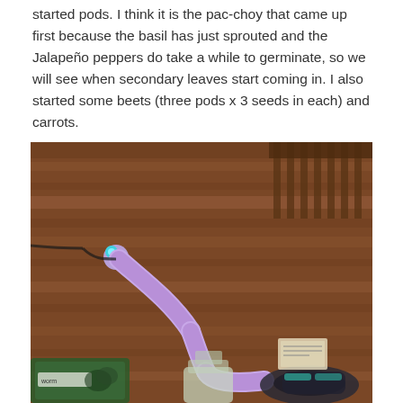started pods. I think it is the pac-choy that came up first because the basil has just sprouted and the Jalapeño peppers do take a while to germinate, so we will see when secondary leaves start coming in. I also started some beets (three pods x 3 seeds in each) and carrots.
[Figure (photo): A purple flexible-neck LED desk lamp placed on a wooden floor surface, with a glass bottle underneath the lamp head, seed packets and gardening gloves visible in the foreground.]